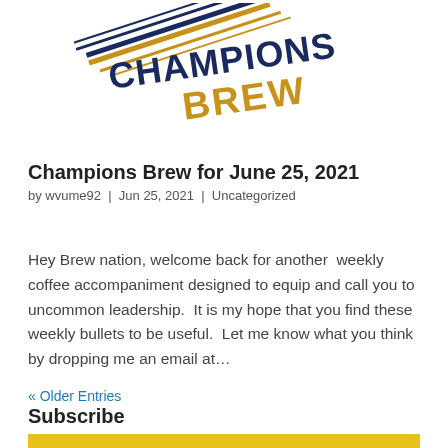[Figure (logo): Champions Brew logo with diagonal speed lines in navy blue and gold. The word CHAMPIONS is in navy blue handwritten style text, and BREW is in gold/orange handwritten style text below it, with diagonal parallel lines in both navy and gold extending behind the text.]
Champions Brew for June 25, 2021
by wvume92  |  Jun 25, 2021  |  Uncategorized
Hey Brew nation, welcome back for another  weekly coffee accompaniment designed to equip and call you to uncommon leadership.  It is my hope that you find these weekly bullets to be useful.  Let me know what you think by dropping me an email at…
« Older Entries
Subscribe